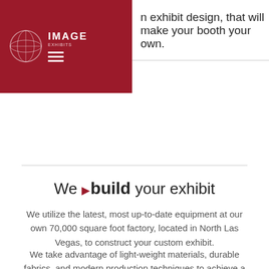[Figure (logo): Image Exhibits logo — white globe icon and text 'IMAGE EXHIBITS' on a dark red background, with a hamburger menu icon]
n exhibit design, that will make your booth your own.
We  ▶ build  your exhibit
We utilize the latest, most up-to-date equipment at our own 70,000 square foot factory, located in North Las Vegas, to construct your custom exhibit.
We take advantage of light-weight materials, durable fabrics, and modern production techniques to achieve a level of quality that is difficult to match.